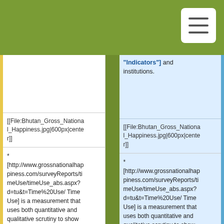"Indicators"] and institutions.
[[File:Bhutan_Gross_National_Happiness.jpg|600px|center]]
[[File:Bhutan_Gross_National_Happiness.jpg|600px|center]]
* [http://www.grossnationalhappiness.com/surveyReports/timeUse/timeUse_abs.aspx?d=tu&t=Time%20Use/ Time Use] is a measurement that uses both quantitative and qualitative scrutiny to show how well schedules promote success. By administering interviews to households, qualitative data supplies necessary information to make a concrete analysis of
* [http://www.grossnationalhappiness.com/surveyReports/timeUse/timeUse_abs.aspx?d=tu&t=Time%20Use/ Time Use] is a measurement that uses both quantitative and qualitative scrutiny to show how well schedules promote success. By administering interviews to households, qualitative data supplies necessary information to make a concrete analysis of